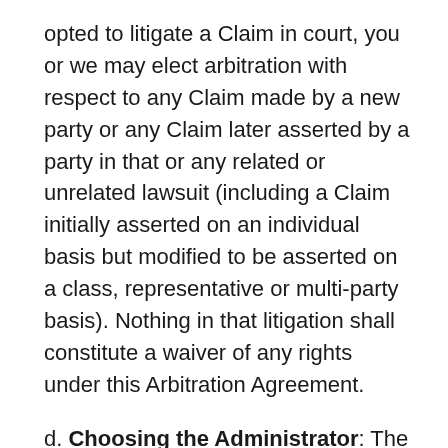opted to litigate a Claim in court, you or we may elect arbitration with respect to any Claim made by a new party or any Claim later asserted by a party in that or any related or unrelated lawsuit (including a Claim initially asserted on an individual basis but modified to be asserted on a class, representative or multi-party basis). Nothing in that litigation shall constitute a waiver of any rights under this Arbitration Agreement.
d. Choosing the Administrator: The party starting the arbitration proceeding must choose one of the following arbitration organizations as the Administrator: the American Arbitration Association (the “AAA”), 120 Broadway, Floor 21, New York, N.Y 10271, www.adr.org., or JAMS, 1920 Main St